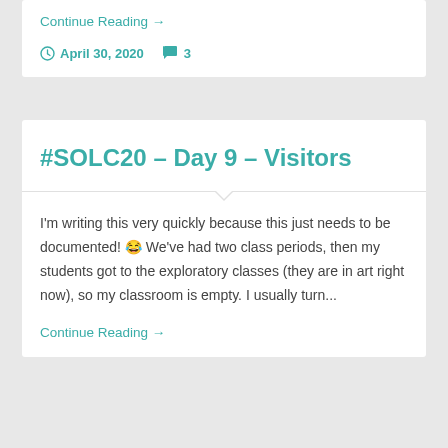Continue Reading →
April 30, 2020   3
#SOLC20 – Day 9 – Visitors
I'm writing this very quickly because this just needs to be documented! 😂 We've had two class periods, then my students got to the exploratory classes (they are in art right now), so my classroom is empty. I usually turn...
Continue Reading →